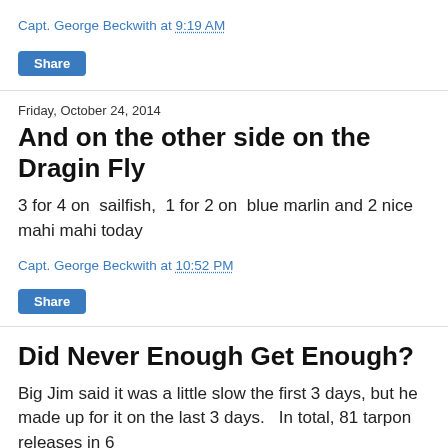Capt. George Beckwith at 9:19 AM
Share
Friday, October 24, 2014
And on the other side on the Dragin Fly
3 for 4 on  sailfish,  1 for 2 on  blue marlin and 2 nice mahi mahi today
Capt. George Beckwith at 10:52 PM
Share
Did Never Enough Get Enough?
Big Jim said it was a little slow the first 3 days, but he made up for it on the last 3 days.   In total, 81 tarpon releases in 6